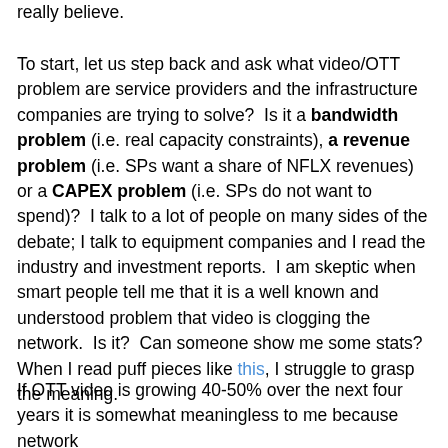really believe.
To start, let us step back and ask what video/OTT problem are service providers and the infrastructure companies are trying to solve?  Is it a bandwidth problem (i.e. real capacity constraints), a revenue problem (i.e. SPs want a share of NFLX revenues) or a CAPEX problem (i.e. SPs do not want to spend)?  I talk to a lot of people on many sides of the debate; I talk to equipment companies and I read the industry and investment reports.  I am skeptic when smart people tell me that it is a well known and understood problem that video is clogging the network.  Is it?  Can someone show me some stats?  When I read puff pieces like this, I struggle to grasp the meaning.
If OTT video is growing 40-50% over the next four years it is somewhat meaningless to me because network